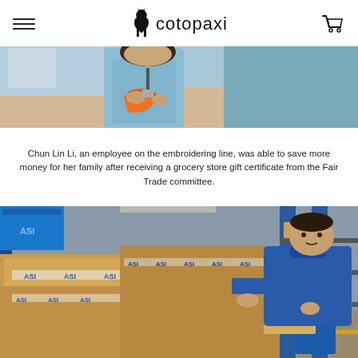cotopaxi
[Figure (photo): Close-up photo of a person working on an embroidering line, wearing a light blue shirt and handling orange fabric.]
Chun Lin Li, an employee on the embroidering line, was able to save more money for her family after receiving a grocery store gift certificate from the Fair Trade committee.
[Figure (photo): A warehouse worker in a blue polo shirt sorting and stacking cardboard boxes labeled ASI in a large warehouse with blue shelving units.]